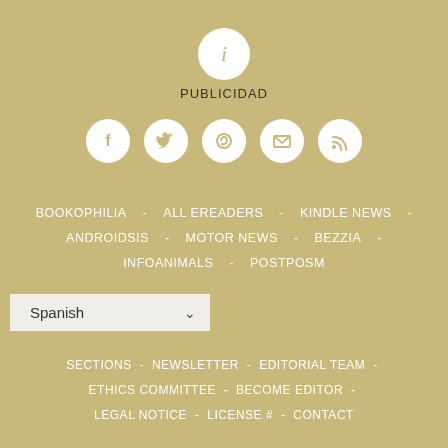[Figure (infographic): White circle with italic 'i' info icon on tan/khaki background]
PUBLICIDAD
[Figure (infographic): Row of 5 white social media icon circles: Facebook, Twitter, Pinterest, Email/envelope, RSS feed]
BOOKOPHILIA - ALL EREADERS - KINDLE NEWS - ANDROIDSIS - MOTOR NEWS - BEZZIA - INFOANIMALS - POSTPOSM
[Figure (other): Language selector dropdown showing 'Spanish' with chevron]
SECTIONS - NEWSLETTER - EDITORIAL TEAM - ETHICS COMMITTEE - BECOME EDITOR - LEGAL NOTICE - LICENSE # - CONTACT